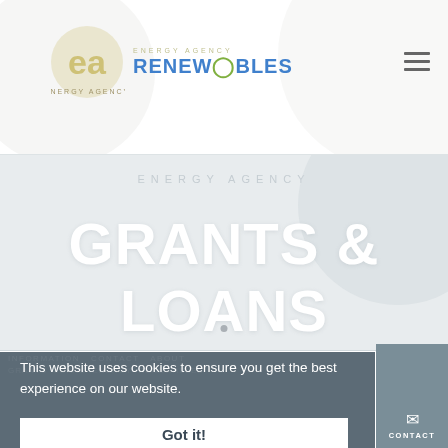[Figure (logo): Energy Agency Renewables logo with circular EA monogram and RENEWABLES text in blue]
GRANTS & LOANS
This website uses cookies to ensure you get the best experience on our website.
Got it!